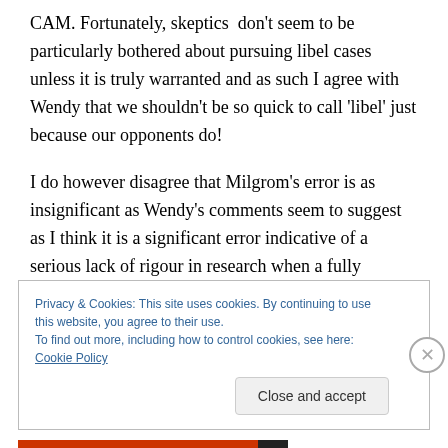CAM. Fortunately, skeptics don't seem to be particularly bothered about pursuing libel cases unless it is truly warranted and as such I agree with Wendy that we shouldn't be so quick to call 'libel' just because our opponents do!
I do however disagree that Milgrom's error is as insignificant as Wendy's comments seem to suggest as I think it is a significant error indicative of a serious lack of rigour in research when a fully referenced article is published in a CAM journal after months of research and
Privacy & Cookies: This site uses cookies. By continuing to use this website, you agree to their use.
To find out more, including how to control cookies, see here: Cookie Policy
Close and accept